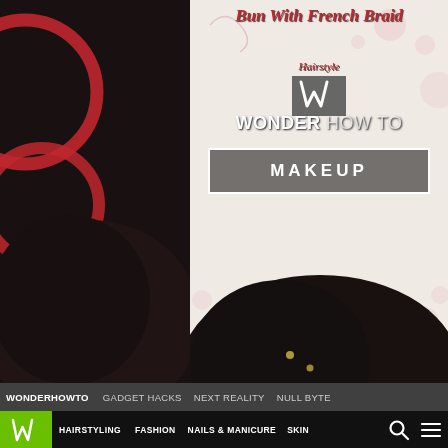[Figure (screenshot): Screenshot of WonderHowTo website showing a 'Bun With French Braid Hairstyle' tutorial page. The top portion shows a banner with decorative script title, a Wonder How To logo, a MAKEUP category button, and a dark photo of a braided hair bun. Below is a dark gray navigation bar with links: WONDERHOWTO, GADGET HACKS, NEXT REALITY, NULL BYTE. Then a black navigation bar with green W logo, categories HAIRSTYLING, FASHION, NAILS & MANICURE, SKIN, and search/menu icons. Below is a light gray content area with a green FORUM THREAD label and the beginning of the article title 'How to Bun with French Braid'.]
How to Bun with French Braid